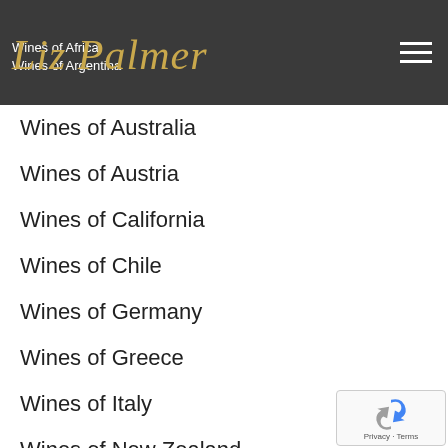Liz Palmer — Wines of Africa / Wines of Argentina
Wines of Australia
Wines of Austria
Wines of California
Wines of Chile
Wines of Germany
Wines of Greece
Wines of Italy
Wines of New Zealand
Wines of Portugal
Wines of Sicily